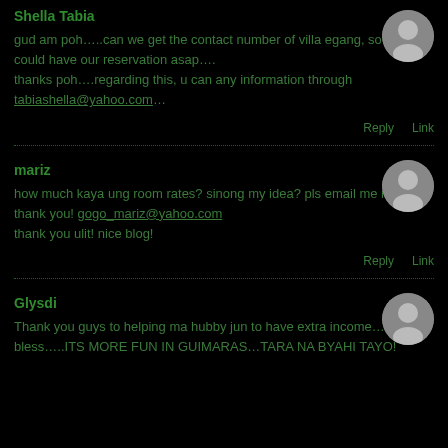Shella Tabia
gud am poh…..can we get the contact number of villa egang, so that we could have our reservation asap….
thanks poh….regarding this, u can any information through tabiashella@yahoo.com…
Reply   Link
mariz
how much kaya ung room rates? sinong my idea? pls email me na lng. thank you! gogo_mariz@yahoo.com
thank you ulit! nice blog!
Reply   Link
Glysdi
Thank you guys to helping ma hubby jun to have extra income….god bless…..ITS MORE FUN IN GUIMARAS…TARA NA BYAHI TAYO!